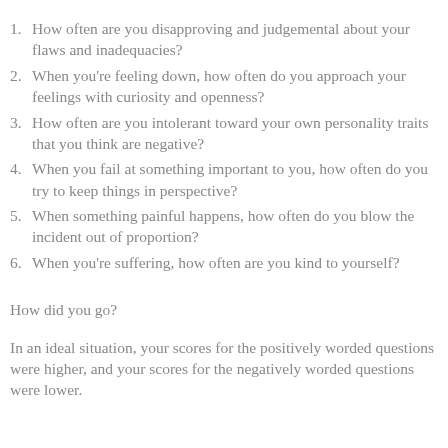1. How often are you disapproving and judgemental about your flaws and inadequacies?
2. When you're feeling down, how often do you approach your feelings with curiosity and openness?
3. How often are you intolerant toward your own personality traits that you think are negative?
4. When you fail at something important to you, how often do you try to keep things in perspective?
5. When something painful happens, how often do you blow the incident out of proportion?
6. When you're suffering, how often are you kind to yourself?
How did you go?
In an ideal situation, your scores for the positively worded questions were higher, and your scores for the negatively worded questions were lower.